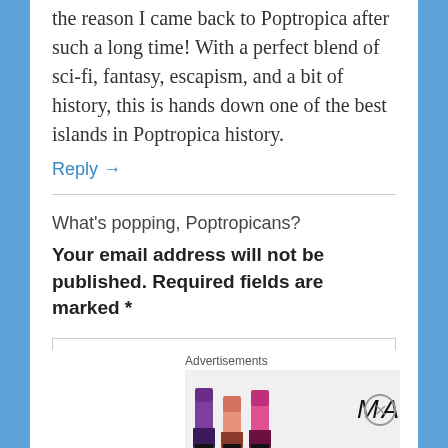the reason I came back to Poptropica after such a long time! With a perfect blend of sci-fi, fantasy, escapism, and a bit of history, this is hands down one of the best islands in Poptropica history.
Reply →
What's popping, Poptropicans?
Your email address will not be published. Required fields are marked *
COMMENT
[Figure (photo): MAC cosmetics advertisement showing lipsticks with SHOP NOW button]